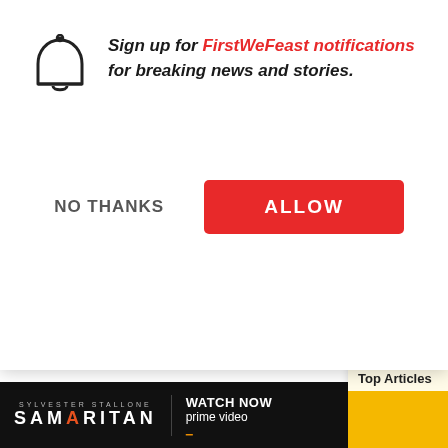[Figure (screenshot): Browser push notification prompt with bell icon, text asking to sign up for FirstWeFeast notifications, with NO THANKS and ALLOW buttons. Behind the overlay are partial article text lines, a Top Articles widget with a 'SNACKED' show image, a section heading '10. KFC', and a Samaritan Amazon Prime Video ad bar at the bottom.]